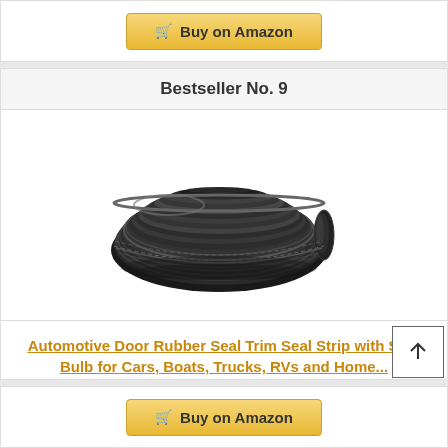[Figure (other): Buy on Amazon button (top)]
Bestseller No. 9
[Figure (photo): Coiled black automotive door rubber seal trim strip with side bulb, shown in circular coil formation on white background]
Automotive Door Rubber Seal Trim Seal Strip with Side Bulb for Cars, Boats, Trucks, RVs and Home...
[Figure (other): Buy on Amazon button (bottom)]